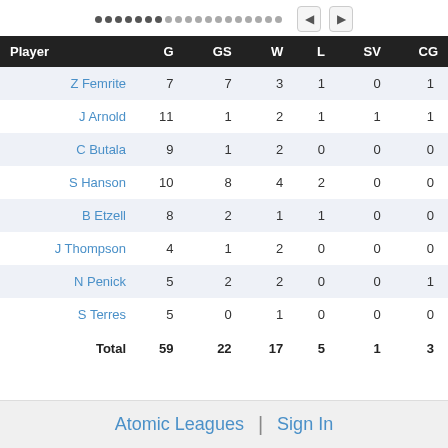| Player | G | GS | W | L | SV | CG |
| --- | --- | --- | --- | --- | --- | --- |
| Z Femrite | 7 | 7 | 3 | 1 | 0 | 1 |
| J Arnold | 11 | 1 | 2 | 1 | 1 | 1 |
| C Butala | 9 | 1 | 2 | 0 | 0 | 0 |
| S Hanson | 10 | 8 | 4 | 2 | 0 | 0 |
| B Etzell | 8 | 2 | 1 | 1 | 0 | 0 |
| J Thompson | 4 | 1 | 2 | 0 | 0 | 0 |
| N Penick | 5 | 2 | 2 | 0 | 0 | 1 |
| S Terres | 5 | 0 | 1 | 0 | 0 | 0 |
| Total | 59 | 22 | 17 | 5 | 1 | 3 |
Atomic Leagues  |  Sign In